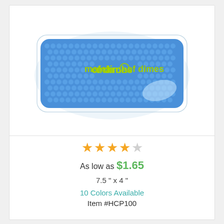[Figure (photo): Blue gel bead hot/cold pack with 'march of dimes' logo in green text on the front, enclosed in clear plastic packaging]
★★★★☆
As low as $1.65
7.5" x 4"
10 Colors Available
Item #HCP100